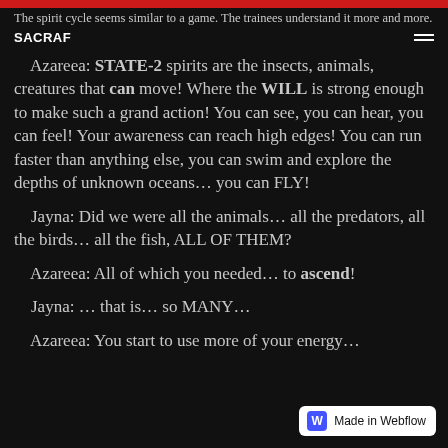The spirit cycle seems similar to a game. The trainees understand it more and more.
Azareea: STATE-2 spirits are the insects, animals, creatures that can move! Where the WILL is strong enough to make such a grand action! You can see, you can hear, you can feel! Your awareness can reach high edges! You can run faster than anything else, you can swim and explore the depths of unknown oceans... you can FLY!
Jayna: Did we were all the animals... all the predators, all the birds... all the fish, ALL OF THEM?
Azareea: All of which you needed... to ascend!
Jayna: ... that is... so MANY...
Azareea: You start to use more of your energy...